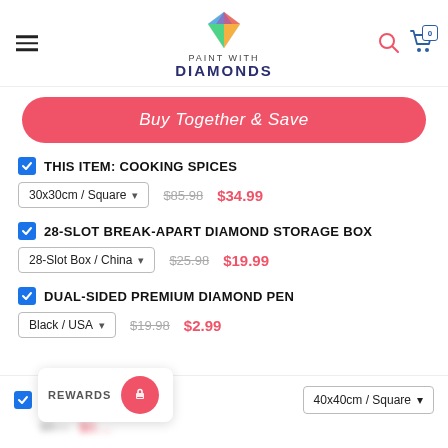PAINT WITH DIAMONDS
Buy Together & Save
THIS ITEM: COOKING SPICES — 30x30cm / Square — $85.98 $34.99
28-SLOT BREAK-APART DIAMOND STORAGE BOX — 28-Slot Box / China — $25.98 $19.99
DUAL-SIDED PREMIUM DIAMOND PEN — Black / USA — $19.98 $2.99
[checkbox] 40x40cm / Square
REWARDS